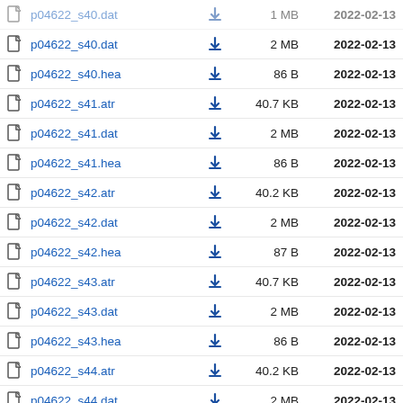p04622_s40.dat  2 MB  2022-02-13
p04622_s40.hea  86 B  2022-02-13
p04622_s41.atr  40.7 KB  2022-02-13
p04622_s41.dat  2 MB  2022-02-13
p04622_s41.hea  86 B  2022-02-13
p04622_s42.atr  40.2 KB  2022-02-13
p04622_s42.dat  2 MB  2022-02-13
p04622_s42.hea  87 B  2022-02-13
p04622_s43.atr  40.7 KB  2022-02-13
p04622_s43.dat  2 MB  2022-02-13
p04622_s43.hea  86 B  2022-02-13
p04622_s44.atr  40.2 KB  2022-02-13
p04622_s44.dat  2 MB  2022-02-13